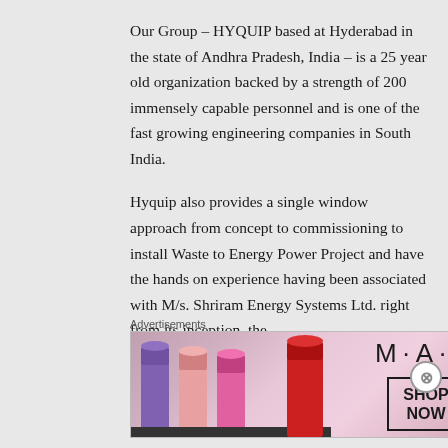Our Group – HYQUIP based at Hyderabad in the state of Andhra Pradesh, India – is a 25 year old organization backed by a strength of 200 immensely capable personnel and is one of the fast growing engineering companies in South India.
Hyquip also provides a single window approach from concept to commissioning to install Waste to Energy Power Project and have the hands on experience having been associated with M/s. Shriram Energy Systems Ltd. right from its inception, the
Advertisements
[Figure (photo): MAC cosmetics advertisement banner showing colorful lipsticks on the left, the MAC logo in the center, and a 'SHOP NOW' button on the right.]